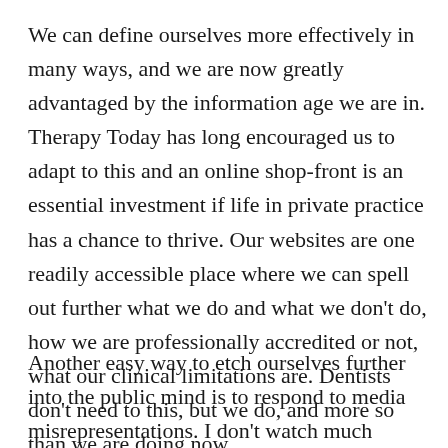We can define ourselves more effectively in many ways, and we are now greatly advantaged by the information age we are in. Therapy Today has long encouraged us to adapt to this and an online shop-front is an essential investment if life in private practice has a chance to thrive. Our websites are one readily accessible place where we can spell out further what we do and what we don't do, how we are professionally accredited or not, what our clinical limitations are. Dentists don't need to this, but we do, and more so than we are doing now.
Another easy way to etch ourselves further into the public mind is to respond to media misrepresentations. I don't watch much